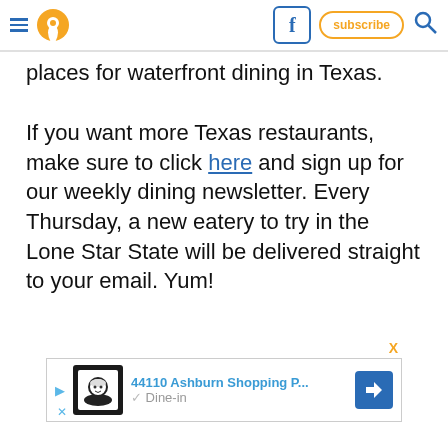Navigation header with hamburger menu, location pin icon, Facebook button, subscribe button, and search icon
places for waterfront dining in Texas.
If you want more Texas restaurants, make sure to click here and sign up for our weekly dining newsletter. Every Thursday, a new eatery to try in the Lone Star State will be delivered straight to your email. Yum!
[Figure (other): Advertisement banner: 44110 Ashburn Shopping P... with Dine-in label, chef logo thumbnail, and directions arrow icon]